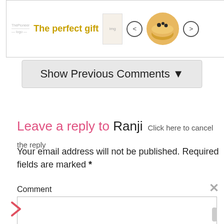[Figure (other): Advertisement banner: 'The perfect gift' in gold text with kitchen/cookware imagery, navigation arrows, bowl image, and '35% OFF + FREE SHIPPING' gold box on right. Close X button top right.]
Show Previous Comments ▼
Leave a reply to Ranji  Click here to cancel the reply
Your email address will not be published. Required fields are marked *
Comment